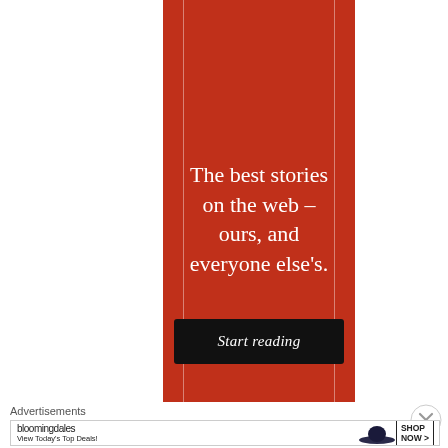[Figure (infographic): Red vertical banner advertisement with white text reading 'The best stories on the web – ours, and everyone else's.' with a black 'Start reading' button. Two thin white vertical lines frame the inner content area.]
Advertisements
[Figure (infographic): Bloomingdale's advertisement banner showing the Bloomingdale's logo, 'View Today's Top Deals!' text, an image of a woman in a large hat, and a 'SHOP NOW >' button.]